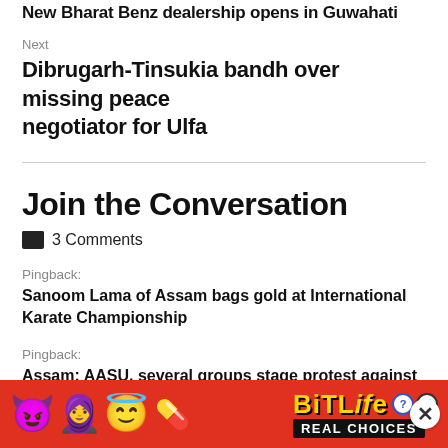New Bharat Benz dealership opens in Guwahati
Next
Dibrugarh-Tinsukia bandh over missing peace negotiator for Ulfa
Join the Conversation
3 Comments
Pingback:
Sanoom Lama of Assam bags gold at International Karate Championship
Pingback:
Assam: AASU, several groups stage protest against Citizenship Bill at Biswanath
[Figure (other): BitLife REAL CHOICES advertisement banner with emoji characters on red background]